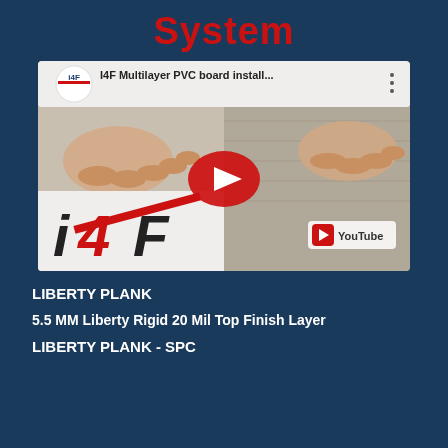System
[Figure (screenshot): YouTube video thumbnail showing I4F Multilayer PVC board installation video with hands pressing flooring planks together, I4F logo visible, red YouTube play button in center.]
LIBERTY PLANK
5.5 MM Liberty Rigid 20 Mil Top Finish Layer
LIBERTY PLANK - SPC